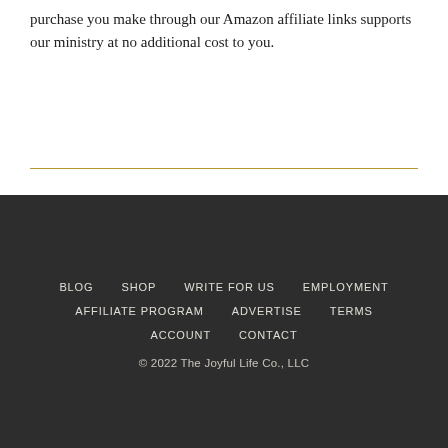purchase you make through our Amazon affiliate links supports our ministry at no additional cost to you.
BLOG  SHOP  WRITE FOR US  EMPLOYMENT  AFFILIATE PROGRAM  ADVERTISE  TERMS  ACCOUNT  CONTACT  © 2022 The Joyful Life Co., LLC